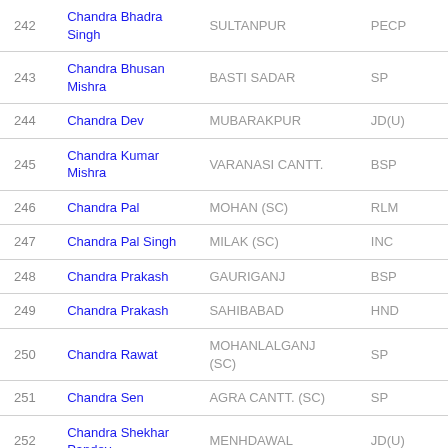| # | Name | Constituency | Party |
| --- | --- | --- | --- |
| 242 | Chandra Bhadra Singh | SULTANPUR | PECP |
| 243 | Chandra Bhusan Mishra | BASTI SADAR | SP |
| 244 | Chandra Dev | MUBARAKPUR | JD(U) |
| 245 | Chandra Kumar Mishra | VARANASI CANTT. | BSP |
| 246 | Chandra Pal | MOHAN (SC) | RLM |
| 247 | Chandra Pal Singh | MILAK (SC) | INC |
| 248 | Chandra Prakash | GAURIGANJ | BSP |
| 249 | Chandra Prakash | SAHIBABAD | HND |
| 250 | Chandra Rawat | MOHANLALGANJ (SC) | SP |
| 251 | Chandra Sen | AGRA CANTT. (SC) | SP |
| 252 | Chandra Shekhar Pandey | MENHDAWAL | JD(U) |
| 253 | Chandra Shekhar |  |  |